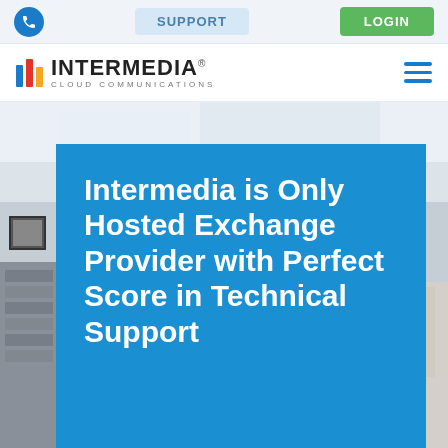[Figure (screenshot): Top navigation bar with phone icon, SUPPORT button, and LOGIN button]
[Figure (logo): Intermedia Cloud Communications logo with colored vertical bars and company name]
[Figure (photo): Office background photo with blurred interior, overlaid with blue box containing hero title text]
Intermedia is Only Hosted Exchange Provider with Perfect Score in Technical Support